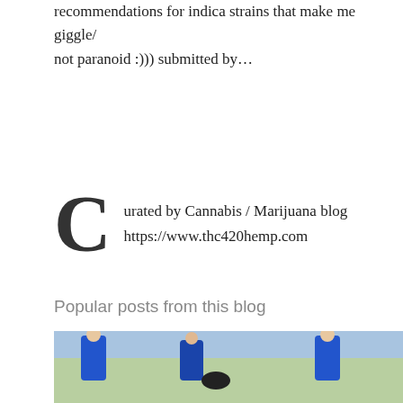recommendations for indica strains that make me giggle/ not paranoid :))) submitted by…
Curated by Cannabis / Marijuana blog https://www.thc420hemp.com
LABELS: CANNABIS, MARIJUANA, WEED
SHARE
Popular posts from this blog
[Figure (photo): Two people in blue shirts, outdoors on a field]